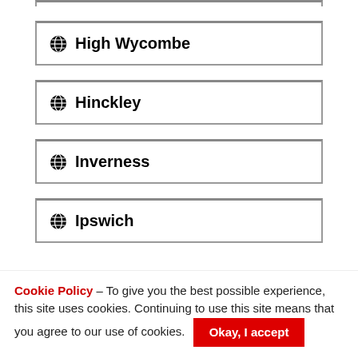High Wycombe
Hinckley
Inverness
Ipswich
Cookie Policy – To give you the best possible experience, this site uses cookies. Continuing to use this site means that you agree to our use of cookies. Okay, I accept